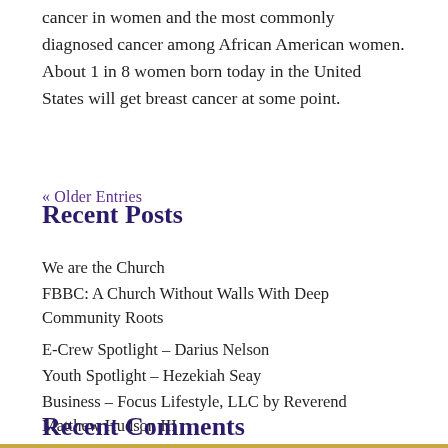cancer in women and the most commonly diagnosed cancer among African American women. About 1 in 8 women born today in the United States will get breast cancer at some point.
« Older Entries
Recent Posts
We are the Church
FBBC: A Church Without Walls With Deep Community Roots
E-Crew Spotlight – Darius Nelson
Youth Spotlight – Hezekiah Seay
Business – Focus Lifestyle, LLC by Reverend Matthew Hudson III
Recent Comments